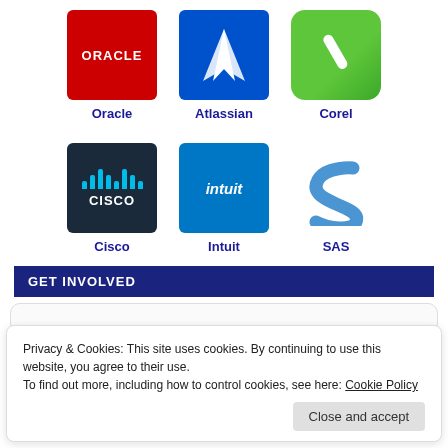[Figure (logo): Oracle red square logo with white ORACLE text]
Oracle
[Figure (logo): Atlassian blue square logo with white triangle/mountain icon]
Atlassian
[Figure (logo): Corel green rounded square logo with white pencil icon]
Corel
[Figure (logo): Cisco dark navy square logo with cyan bars and CISCO text]
Cisco
[Figure (logo): Intuit blue square logo with white italic intuit text]
Intuit
[Figure (logo): SAS logo with blue S shape on white background]
SAS
GET INVOLVED
Privacy & Cookies: This site uses cookies. By continuing to use this website, you agree to their use.
To find out more, including how to control cookies, see here: Cookie Policy